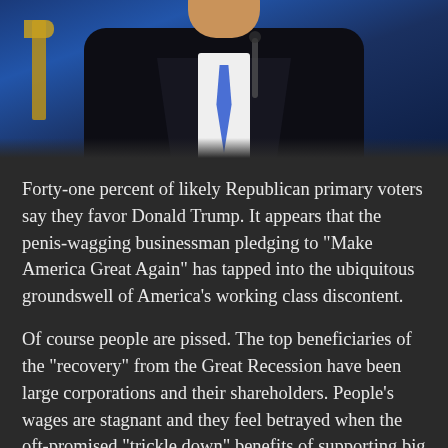[Figure (photo): Photo of a man in a dark suit with a blue tie standing in front of a blue curtain/backdrop, photographed from roughly chest up.]
Forty-one percent of likely Republican primary voters say they favor Donald Trump. It appears that the penis-wagging businessman pledging to "Make America Great Again" has tapped into the ubiquitous groundswell of America's working class discontent.
Of course people are pissed. The top beneficiaries of the "recovery" from the Great Recession have been large corporations and their shareholders. People's wages are stagnant and they feel betrayed when the oft-promised "trickle down" benefits of supporting big business have failed to materialize. The top-earning 15 Americans have made $170 billion these past two years, more than the bottom 40 percent of our country combined. Politics aside, anyone with common sense can admit that this is